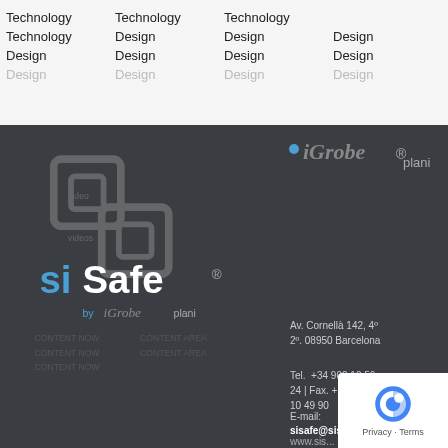Technology Technology Technology Technology Design Design Design Design Design Design Design Design
[Figure (logo): SiSafe logo with iGrobe plani branding on dark background]
[Figure (logo): iGrobe plani logo top right]
Av. Cornellà 142, 4º 2º. 08950 Barcelona
Tel.  +34 902 10 56 24 | Fax. + 34 902 10 49 90
E-mail: sisafe@sisafe.tech
www.sis...